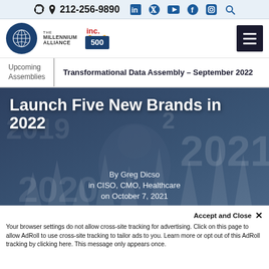212-256-9890
[Figure (logo): The Millennium Alliance logo and Inc 500 badge]
Upcoming Assemblies
Transformational Data Assembly – September 2022
Launch Five New Brands in 2022
By Greg Dicso
in CISO, CMO, Healthcare
on October 7, 2021
NEW YORK – October 7, 2021 – Coming of
Your browser settings do not allow cross-site tracking for advertising. Click on this page to allow AdRoll to use cross-site tracking to tailor ads to you. Learn more or opt out of this AdRoll tracking by clicking here. This message only appears once.